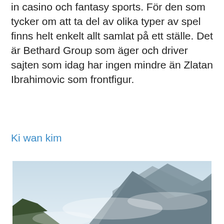in casino och fantasy sports. För den som tycker om att ta del av olika typer av spel finns helt enkelt allt samlat på ett ställe. Det är Bethard Group som äger och driver sajten som idag har ingen mindre än Zlatan Ibrahimovic som frontfigur.
Ki wan kim
[Figure (photo): A scenic landscape photo showing a wooden dock/pier extending over a calm lake with mountains and misty clouds in the background. Trees visible on the left shore.]